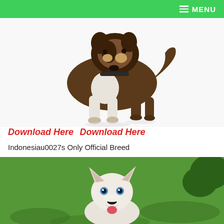MENU
[Figure (photo): A large brindle and white dog (Akita or similar breed) standing on a white background, viewed from the front-side.]
Download Here  Download Here
Indonesiau0027s Only Official Breed
[Figure (photo): A white dog (Kintamani or similar breed) sitting on green grass, looking at the camera with mouth open and tongue out.]